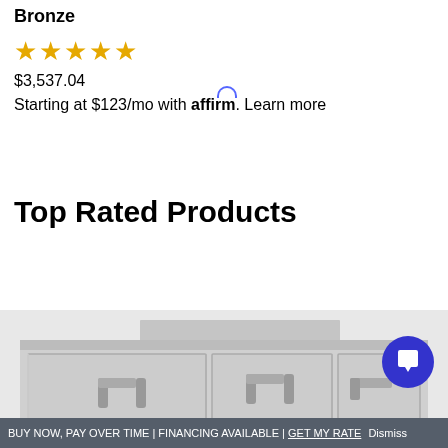Bronze
[Figure (other): Five gold star rating]
$3,537.04
Starting at $123/mo with affirm. Learn more
Top Rated Products
[Figure (photo): Stainless steel outdoor kitchen drawer unit with two large doors and one smaller drawer, all with bar handles]
BUY NOW, PAY OVER TIME | FINANCING AVAILABLE | GET MY RATE Dismiss